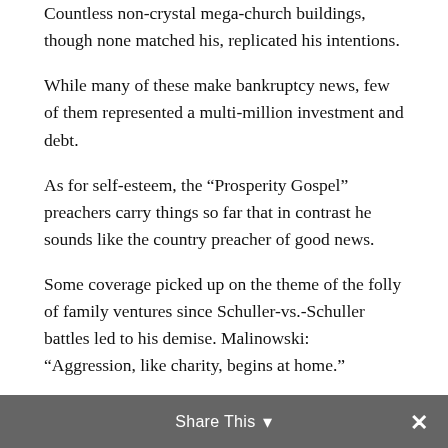Countless non-crystal mega-church buildings, though none matched his, replicated his intentions.
While many of these make bankruptcy news, few of them represented a multi-million investment and debt.
As for self-esteem, the “Prosperity Gospel” preachers carry things so far that in contrast he sounds like the country preacher of good news.
Some coverage picked up on the theme of the folly of family ventures since Schuller-vs.-Schuller battles led to his demise. Malinowski: “Aggression, like charity, begins at home.”
It is possible to greet these moments with sympathy and sadness – and it is then necessary to move on.
Share This ▾ ×